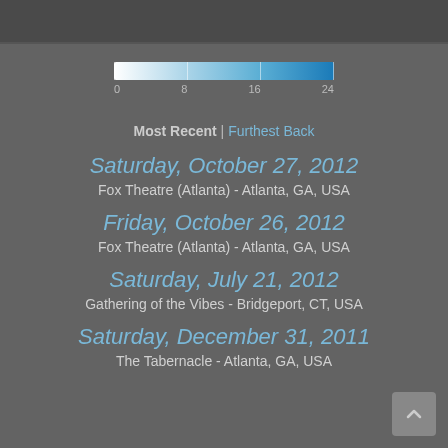[Figure (infographic): Horizontal gradient color bar legend ranging from white/light blue (0) to dark blue (24), with tick marks at 0, 8, 16, 24]
Most Recent | Furthest Back
Saturday, October 27, 2012
Fox Theatre (Atlanta) - Atlanta, GA, USA
Friday, October 26, 2012
Fox Theatre (Atlanta) - Atlanta, GA, USA
Saturday, July 21, 2012
Gathering of the Vibes - Bridgeport, CT, USA
Saturday, December 31, 2011
The Tabernacle - Atlanta, GA, USA